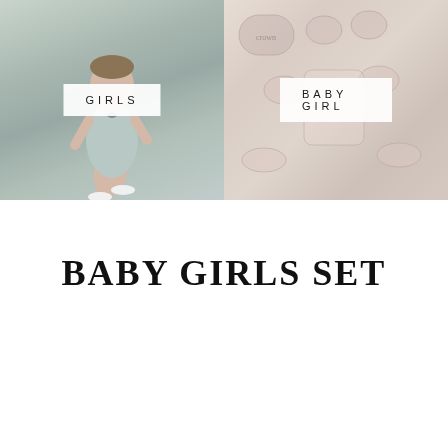[Figure (photo): Left half: photo of a young girl running outdoors wearing a light grey sleeveless dress, with a white label overlay reading 'GIRLS']
[Figure (photo): Right half: flat lay photo of baby girl clothing items and accessories in soft pink/cream tones, with a white label overlay reading 'BABY GIRL']
BABY GIRLS SET